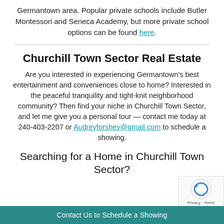Germantown area. Popular private schools include Butler Montessori and Seneca Academy, but more private school options can be found here.
Churchill Town Sector Real Estate
Are you interested in experiencing Germantown's best entertainment and conveniences close to home? Interested in the peaceful tranquility and tight-knit neighborhood community? Then find your niche in Churchill Town Sector, and let me give you a personal tour — contact me today at 240-403-2207 or Audreyforshey@gmail.com to schedule a showing.
Searching for a Home in Churchill Town Sector?
Contact Us to Schedule a Showing